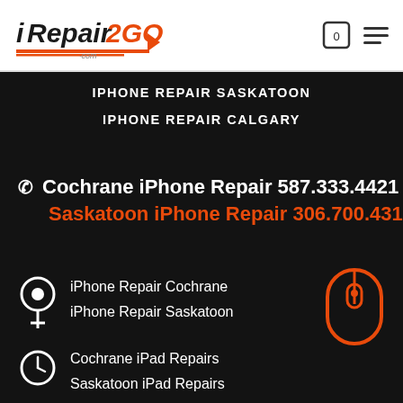iRepair2GO.com
IPHONE REPAIR SASKATOON
IPHONE REPAIR CALGARY
Cochrane iPhone Repair 587.333.4421
Saskatoon iPhone Repair 306.700.4311
iPhone Repair Cochrane
iPhone Repair Saskatoon
[Figure (illustration): Orange mouse/scroll icon SVG]
Cochrane iPad Repairs
Saskatoon iPad Repairs